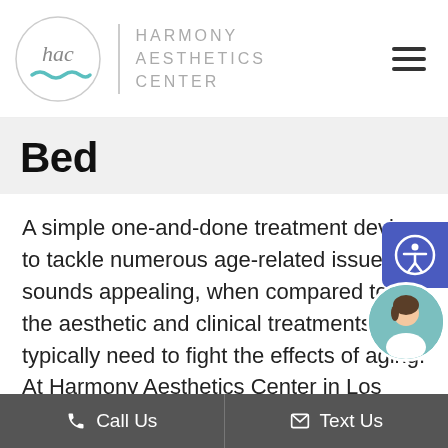[Figure (logo): Harmony Aesthetics Center logo with circular 'hac' script mark, teal wave underline, vertical divider, and text 'HARMONY AESTHETICS CENTER' in light gray capitals]
Bed
A simple one-and-done treatment device to tackle numerous age-related issues sounds appealing, when compared to all the aesthetic and clinical treatments you typically need to fight the effects of aging. At Harmony Aesthetics Center in Los Angeles, Melanie Abeyta, RN, Holly Hou
Call Us   Text Us